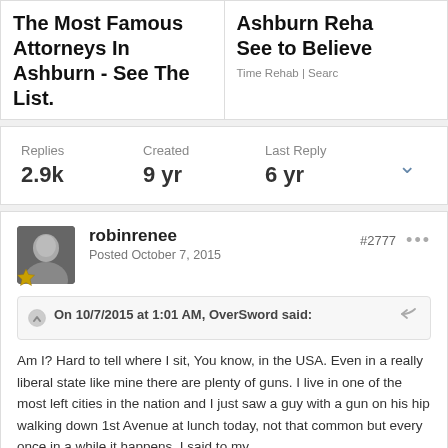[Figure (screenshot): Ad banner left: 'The Most Famous Attorneys In Ashburn - See The List.' with source 'Time's Lawyers | Search']
[Figure (screenshot): Ad banner right: 'Ashburn Reha... See to Believe' with source 'Time Rehab | Search']
Replies 2.9k   Created 9 yr   Last Reply 6 yr
robinrenee
Posted October 7, 2015
#2777
On 10/7/2015 at 1:01 AM, OverSword said:
Am I? Hard to tell where I sit, You know, in the USA. Even in a really liberal state like mine there are plenty of guns. I live in one of the most left cities in the nation and I just saw a guy with a gun on his hip walking down 1st Avenue at lunch today, not that common but every once in a while it happens. I said to my